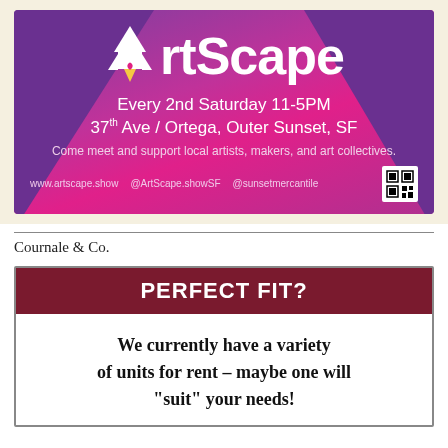[Figure (illustration): ArtScape event flyer with purple/magenta gradient background, rocket logo, event details for every 2nd Saturday 11-5PM at 37th Ave / Ortega, Outer Sunset, SF. Includes social handles and QR code.]
Cournale & Co.
[Figure (illustration): Advertisement banner with dark red header reading PERFECT FIT? and white body text: We currently have a variety of units for rent – maybe one will "suit" your needs!]